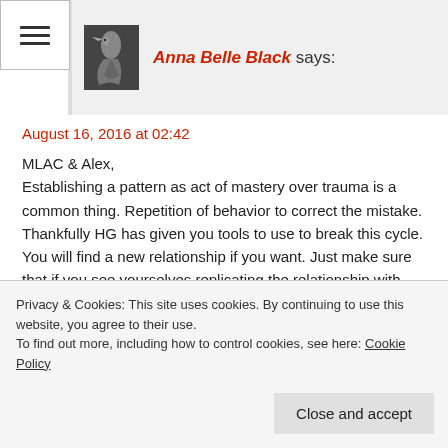[Figure (other): Hamburger menu icon with three horizontal lines]
Anna Belle Black says:
August 16, 2016 at 02:42
MLAC & Alex,
Establishing a pattern as act of mastery over trauma is a common thing. Repetition of behavior to correct the mistake. Thankfully HG has given you tools to use to break this cycle. You will find a new relationship if you want. Just make sure that if you see yourselves replicating the relationship with your ex narc, that you are hyper aware. This way you know where you stand and can accept it or walk away. You both are worthy of a great relationship. Seek out the opposing
Privacy & Cookies: This site uses cookies. By continuing to use this website, you agree to their use.
To find out more, including how to control cookies, see here: Cookie Policy
Close and accept